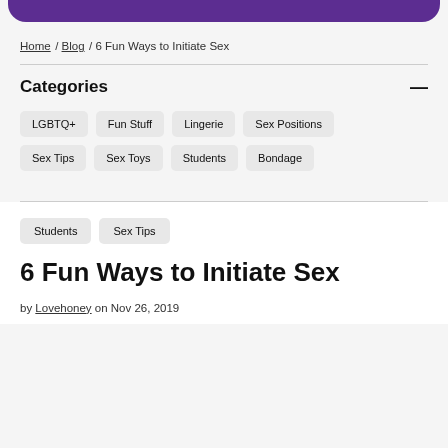[Figure (other): Purple rounded bar at top of page]
Home / Blog / 6 Fun Ways to Initiate Sex
Categories
LGBTQ+
Fun Stuff
Lingerie
Sex Positions
Sex Tips
Sex Toys
Students
Bondage
Students
Sex Tips
6 Fun Ways to Initiate Sex
by Lovehoney on Nov 26, 2019